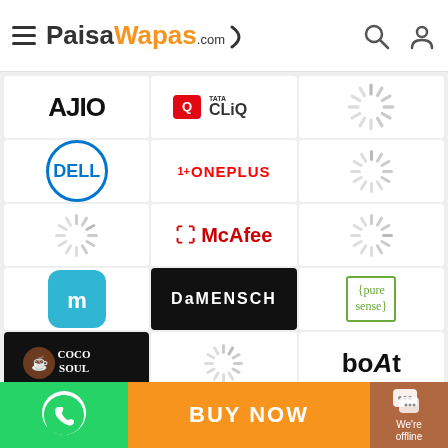[Figure (screenshot): PaisaWapas.com mobile app header with hamburger menu, logo, search and profile icons]
[Figure (logo): AJIO brand logo]
[Figure (logo): Tata CLiQ brand logo]
[Figure (logo): Loading spinner]
[Figure (logo): Dell brand logo (blue circle)]
[Figure (logo): OnePlus brand logo]
[Figure (logo): Loading spinner]
[Figure (logo): Loading spinner]
[Figure (logo): McAfee brand logo]
[Figure (logo): Loading spinner]
[Figure (logo): Meesho brand logo (blue rounded square)]
[Figure (logo): DaMENSCH brand logo]
[Figure (logo): Pure Sense brand logo]
[Figure (logo): Coco Soul brand logo]
[Figure (logo): Loading spinner]
[Figure (logo): boAt brand logo]
Connect with us
BUY NOW
We're offline